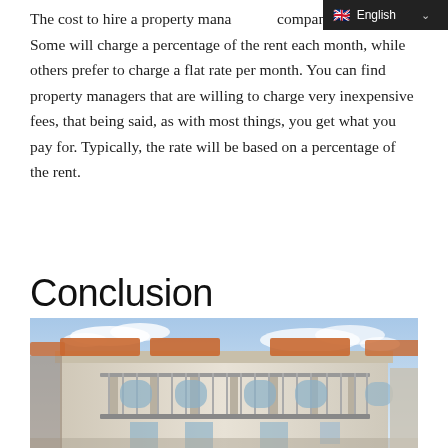The cost to hire a property management company themselves. Some will charge a percentage of the rent each month, while others prefer to charge a flat rate per month. You can find property managers that are willing to charge very inexpensive fees, that being said, as with most things, you get what you pay for. Typically, the rate will be based on a percentage of the rent.
Conclusion
[Figure (photo): Exterior photograph of a white two-story colonial-style building with arched windows, balconies with railings, and terracotta roof tiles under a partly cloudy sky.]